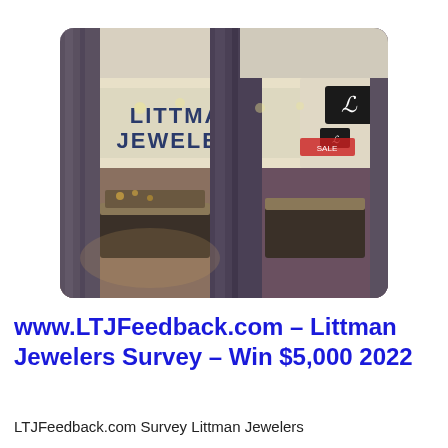[Figure (photo): Exterior photo of a Littman Jewelers store in a mall, showing the storefront sign reading LITTMAN JEWELERS, marble columns, glass display cases inside, and a small logo sign on the right side.]
www.LTJFeedback.com – Littman Jewelers Survey – Win $5,000 2022
LTJFeedback.com Survey Littman Jewelers